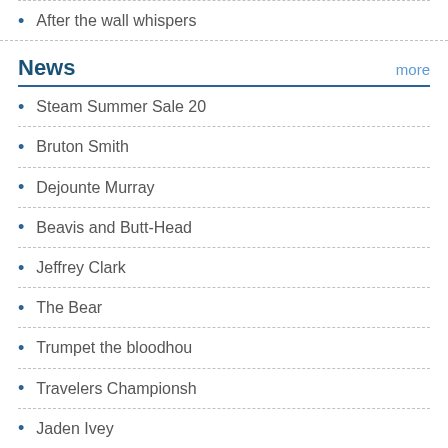After the wall whispers
News
Steam Summer Sale 20
Bruton Smith
Dejounte Murray
Beavis and Butt-Head
Jeffrey Clark
The Bear
Trumpet the bloodhou
Travelers Championsh
Jaden Ivey
Keegan Murray